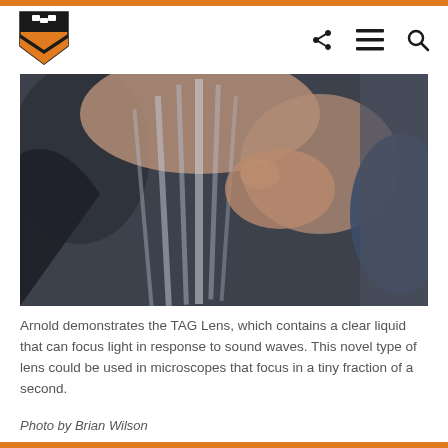[Figure (logo): Princeton University shield logo — black and orange crest]
[Figure (photo): Close-up photo of hands demonstrating the TAG Lens, a device containing clear liquid. The image is blurred/bokeh with the hands holding a transparent flat object, set against a dark background.]
Arnold demonstrates the TAG Lens, which contains a clear liquid that can focus light in response to sound waves. This novel type of lens could be used in microscopes that focus in a tiny fraction of a second.
Photo by Brian Wilson